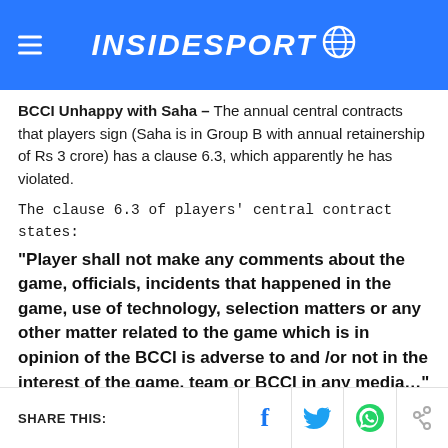INSIDESPORT
BCCI Unhappy with Saha – The annual central contracts that players sign (Saha is in Group B with annual retainership of Rs 3 crore) has a clause 6.3, which apparently he has violated.
The clause 6.3 of players' central contract states: “Player shall not make any comments about the game, officials, incidents that happened in the game, use of technology, selection matters or any other matter related to the game which is in opinion of the BCCI is adverse to and /or not in the interest of the game, team or BCCI in any media...”
SHARE THIS: